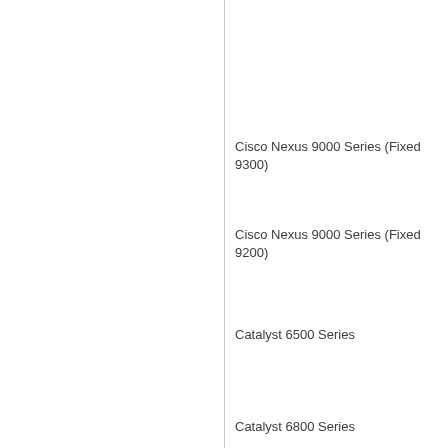Cisco Nexus 9000 Series (Fixed 9300)
Cisco Nexus 9000 Series (Fixed 9200)
Catalyst 6500 Series
Catalyst 6800 Series